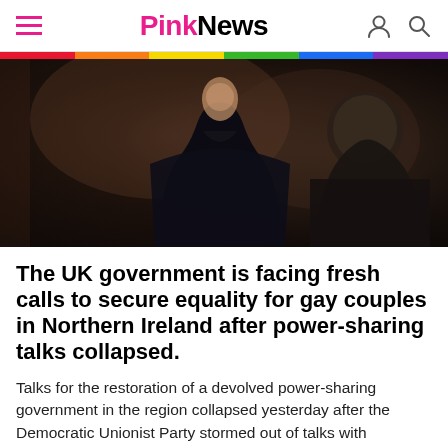PinkNews
[Figure (photo): A person wearing a black outfit photographed from behind/side, with another person partially visible on the right side. Dark, dimly lit editorial photograph.]
The UK government is facing fresh calls to secure equality for gay couples in Northern Ireland after power-sharing talks collapsed.
Talks for the restoration of a devolved power-sharing government in the region collapsed yesterday after the Democratic Unionist Party stormed out of talks with republican party Sinn Fein.